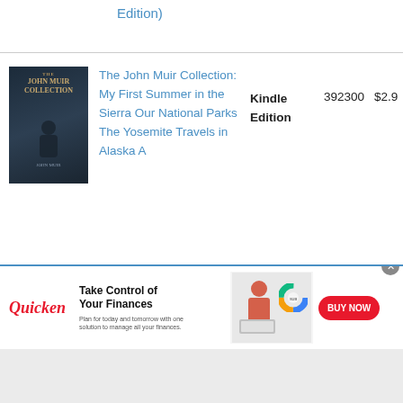Edition)
[Figure (photo): Book cover for The John Muir Collection showing a bearded man in dark tones]
The John Muir Collection: My First Summer in the Sierra Our National Parks The Yosemite Travels in Alaska A
Kindle Edition
392300
$2.9
[Figure (infographic): Quicken advertisement banner: Take Control of Your Finances. Plan for today and tomorrow with one solution to manage all your finances. Shows woman at laptop with colorful donut chart. BUY NOW button.]